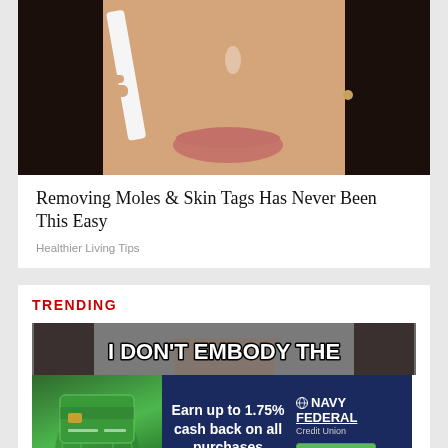[Figure (photo): Close-up photo of a woman's lower face applying something to her cheek with a tool]
Removing Moles & Skin Tags Has Never Been This Easy
Healthier Living Tips
TRENDING
[Figure (photo): Meme image with bold white text reading 'I DON'T EMBODY THE' over a person's face]
[Figure (infographic): Navy Federal Credit Union advertisement banner: green credit card graphic on left, text 'Earn up to 1.75% cash back on all purchases', Navy Federal Credit Union logo and LEARN MORE button]